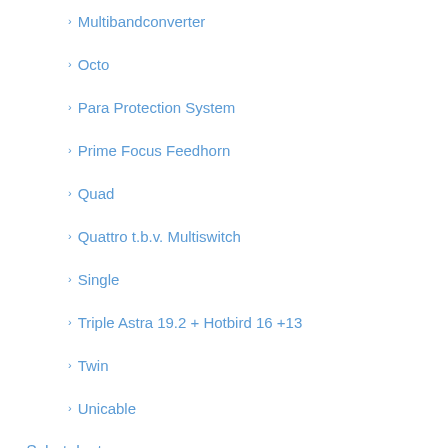Multibandconverter
Octo
Para Protection System
Prime Focus Feedhorn
Quad
Quattro t.b.v. Multiswitch
Single
Triple Astra 19.2 + Hotbird 16 +13
Twin
Unicable
Schotelantennes
Antenna Heating System
Brackets & LNB-houders
Bulk verpakt
Multifocus